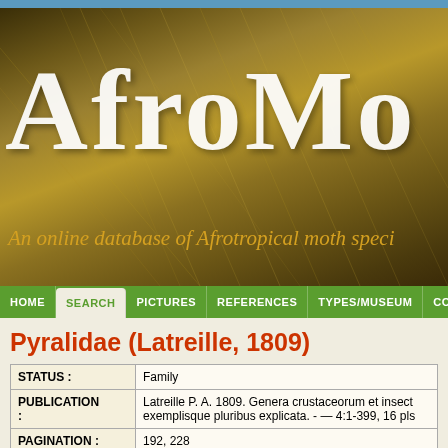[Figure (screenshot): AfroMoths website banner showing 'AfroMo' logo text in white on golden-brown feathery background, with subtitle 'An online database of Afrotropical moth speci...']
Home | Search | Pictures | References | Types/Museum | Contact
Pyralidae (Latreille, 1809)
| STATUS : | Family |
| PUBLICATION : | Latreille P. A. 1809. Genera crustaceorum et insect... exemplisque pluribus explicata. - — 4:1-399, 16 pls |
| PAGINATION : | 192, 228 |